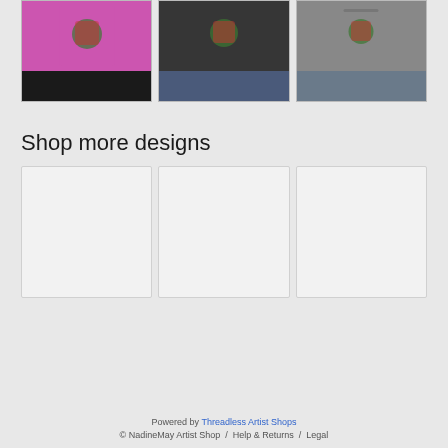[Figure (photo): Three product photos: pink t-shirt with design, dark t-shirt with design, gray tank top with design]
Shop more designs
[Figure (photo): Three empty/loading product design placeholders (white/light gray rectangles)]
Powered by Threadless Artist Shops
© NadineMay Artist Shop  /  Help & Returns  /  Legal